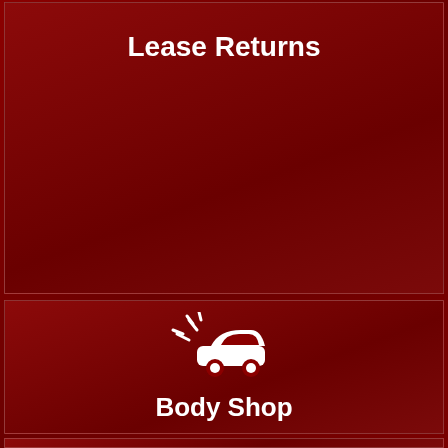Lease Returns
[Figure (illustration): Car crash/collision icon - white silhouette of a car with impact burst on dark red background]
Body Shop